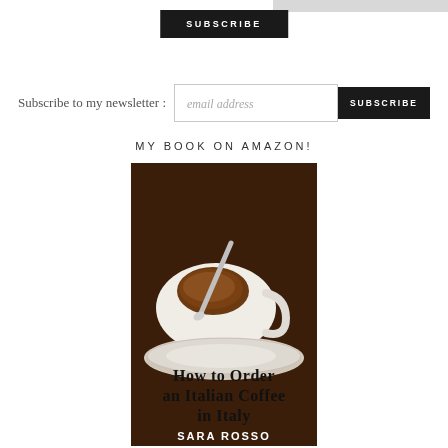[Figure (other): Top subscribe button with gray bar on right side]
Subscribe to my newsletter :
email address
SUBSCRIBE
MY BOOK ON AMAZON!
[Figure (photo): Book cover: 'How to Order an Italian Coffee in Italy' by Sara Rosso, showing an espresso cup with a spoon on a saucer against a dark brown background]